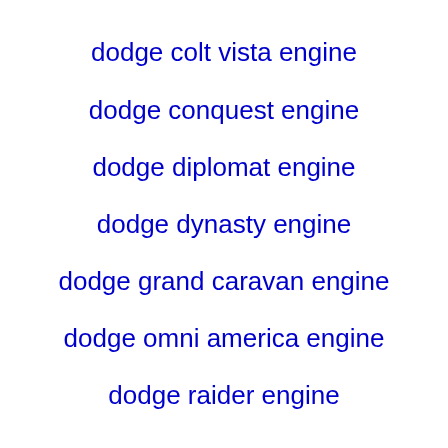dodge colt vista engine
dodge conquest engine
dodge diplomat engine
dodge dynasty engine
dodge grand caravan engine
dodge omni america engine
dodge raider engine